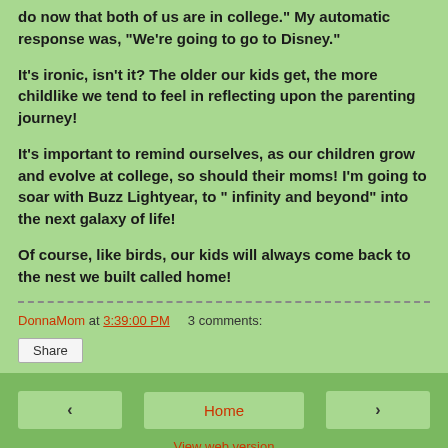do now that both of us are in college." My automatic response was, "We're going to go to Disney."
It's ironic, isn't it? The older our kids get, the more childlike we tend to feel in reflecting upon the parenting journey!
It's important to remind ourselves, as our children grow and evolve at college, so should their moms! I'm going to soar with Buzz Lightyear, to " infinity and beyond" into the next galaxy of life!
Of course, like birds, our kids will always come back to the nest we built called home!
DonnaMom at 3:39:00 PM    3 comments:
Share
Home  View web version